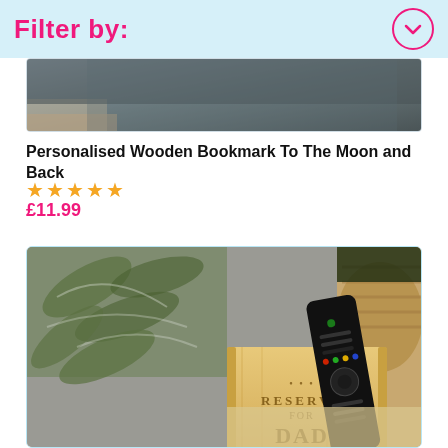Filter by:
[Figure (photo): Top portion of a product photo, showing dark background – partial wooden bookmark product image]
Personalised Wooden Bookmark To The Moon and Back
★★★★★
£11.99
[Figure (photo): Photo of a wooden remote control caddy/holder engraved with 'RESERVED FOR DAD', with a Sony TV remote resting on it, tropical leaf cushion and wicker basket in background]